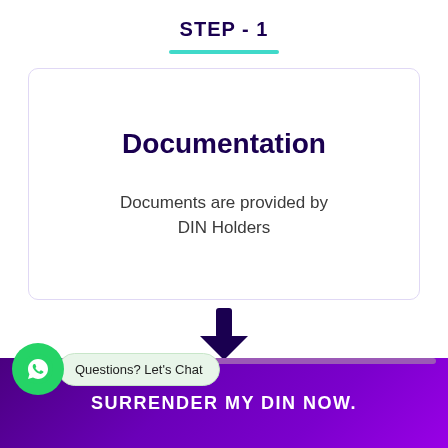STEP - 1
Documentation
Documents are provided by DIN Holders
[Figure (infographic): Down arrow icon in dark purple indicating next step]
STEP - 2
[Figure (infographic): WhatsApp chat widget with green circle icon and bubble saying 'Questions? Let's Chat' with purple bar]
SURRENDER MY DIN NOW.